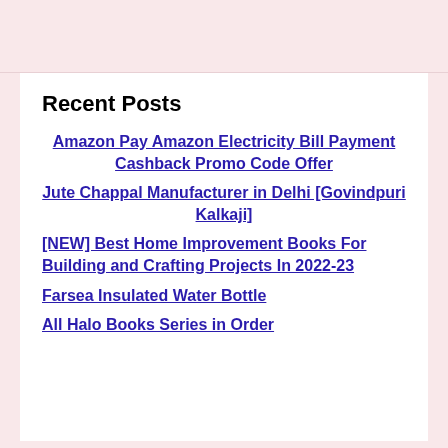[Figure (photo): Partial image of a person's legs/lower body at the top of the page, on a pink background]
Recent Posts
Amazon Pay Amazon Electricity Bill Payment Cashback Promo Code Offer
Jute Chappal Manufacturer in Delhi [Govindpuri Kalkaji]
[NEW] Best Home Improvement Books For Building and Crafting Projects In 2022-23
Farsea Insulated Water Bottle
All Halo Books Series in Order